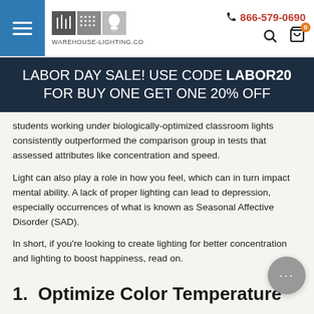[Figure (logo): Warehouse-Lighting.com logo with hamburger menu, phone number 866-579-0690, search and cart icons in header]
LABOR DAY SALE! USE CODE LABOR20 FOR BUY ONE GET ONE 20% OFF
students working under biologically-optimized classroom lights consistently outperformed the comparison group in tests that assessed attributes like concentration and speed.
Light can also play a role in how you feel, which can in turn impact mental ability. A lack of proper lighting can lead to depression, especially occurrences of what is known as Seasonal Affective Disorder (SAD).
In short, if you're looking to create lighting for better concentration and lighting to boost happiness, read on.
1.  Optimize Color Temperature
Color temperature refers to the feeling of warmth that a light fixture puts out. That feeling of warmth can impact your mood.